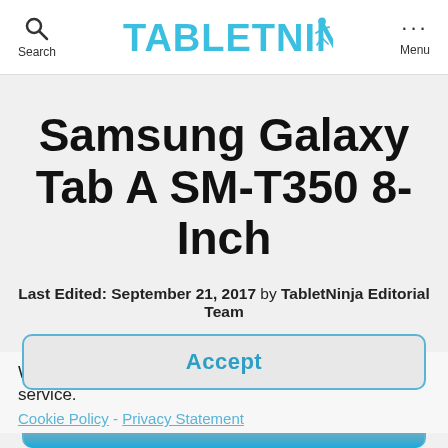Search | TABLETNINJA | Menu
Samsung Galaxy Tab A SM-T350 8-Inch
Last Edited: September 21, 2017 by TabletNinja Editorial Team
Please Note: As an Amazon Associate we earn a small commission for qualifying purchases from our site. Learn more about our editorial policies.
We use cookies to optimize our website and our service.
Cookie Policy - Privacy Statement
[Figure (screenshot): Accept button for cookie consent dialog with partial view of Samsung tablet image below]